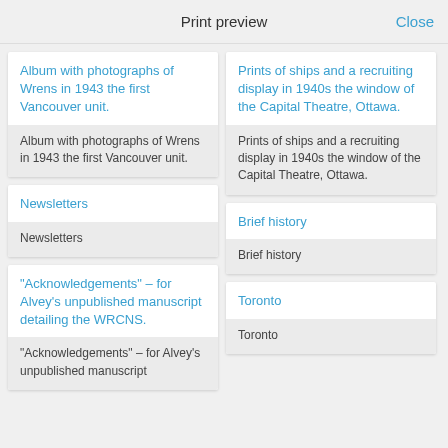Print preview   Close
Album with photographs of Wrens in 1943 the first Vancouver unit.
Album with photographs of Wrens in 1943 the first Vancouver unit.
Prints of ships and a recruiting display in 1940s the window of the Capital Theatre, Ottawa.
Prints of ships and a recruiting display in 1940s the window of the Capital Theatre, Ottawa.
Newsletters
Newsletters
Brief history
Brief history
"Acknowledgements" – for Alvey’s unpublished manuscript detailing the WRCNS.
"Acknowledgements" – for Alvey’s unpublished manuscript
Toronto
Toronto